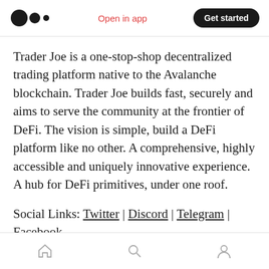Open in app | Get started
Trader Joe is a one-stop-shop decentralized trading platform native to the Avalanche blockchain. Trader Joe builds fast, securely and aims to serve the community at the frontier of DeFi. The vision is simple, build a DeFi platform like no other. A comprehensive, highly accessible and uniquely innovative experience. A hub for DeFi primitives, under one roof.
Social Links: Twitter | Discord | Telegram | Facebook